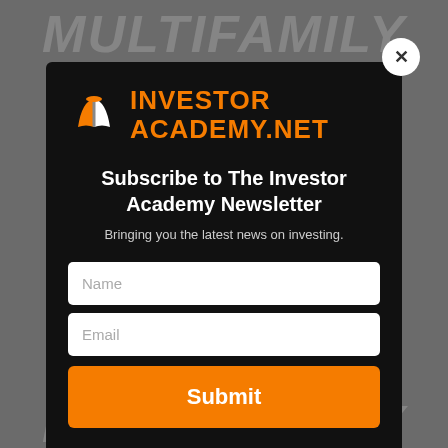[Figure (screenshot): Dark modal popup overlay on a blurred background showing a multifamily investing website. Modal contains Investor Academy logo, newsletter subscription form with Name and Email fields, and a Submit button.]
Subscribe to The Investor Academy Newsletter
Bringing you the latest news on investing.
Name
Email
Submit